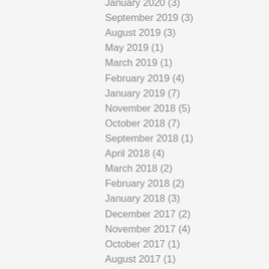January 2020 (3)
September 2019 (3)
August 2019 (3)
May 2019 (1)
March 2019 (1)
February 2019 (4)
January 2019 (7)
November 2018 (5)
October 2018 (7)
September 2018 (1)
April 2018 (4)
March 2018 (2)
February 2018 (2)
January 2018 (3)
December 2017 (2)
November 2017 (4)
October 2017 (1)
August 2017 (1)
July 2017 (1)
June 2017 (2)
April 2017 (1)
March 2017 (2)